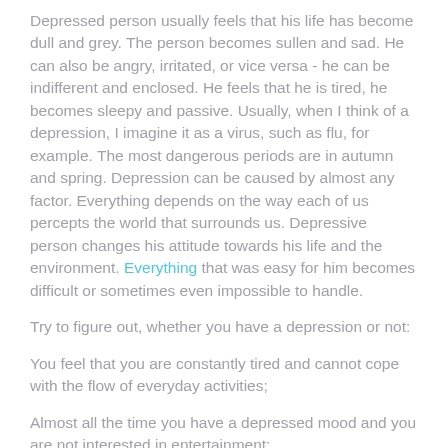Depressed person usually feels that his life has become dull and grey. The person becomes sullen and sad. He can also be angry, irritated, or vice versa - he can be indifferent and enclosed. He feels that he is tired, he becomes sleepy and passive. Usually, when I think of a depression, I imagine it as a virus, such as flu, for example. The most dangerous periods are in autumn and spring. Depression can be caused by almost any factor. Everything depends on the way each of us percepts the world that surrounds us. Depressive person changes his attitude towards his life and the environment. Everything that was easy for him becomes difficult or sometimes even impossible to handle.
Try to figure out, whether you have a depression or not:
You feel that you are constantly tired and cannot cope with the flow of everyday activities;
Almost all the time you have a depressed mood and you are not interested in entertainment;
You have insomnia, or, on the contrary, you are constantly sleepy;